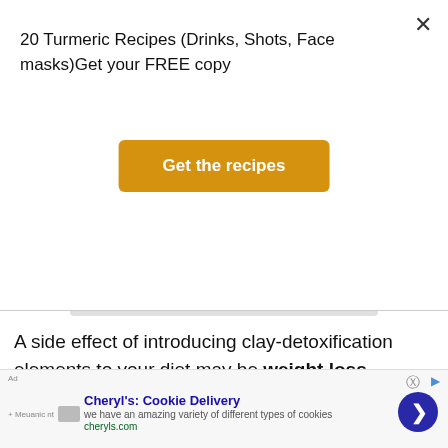20 Turmeric Recipes (Drinks, Shots, Face masks)Get your FREE copy
Get the recipes
A side effect of introducing clay-detoxification elements to your diet may be weight loss.
Drinking clay mixed with water gives the feeling of a full stomach for longer, as well as sweeping out the toxins and heavy metals from the body.
A healthy gut is important when you're trying to get...
Cheryl's: Cookie Delivery — we have an amazing variety of different types of cookies cheryls.com